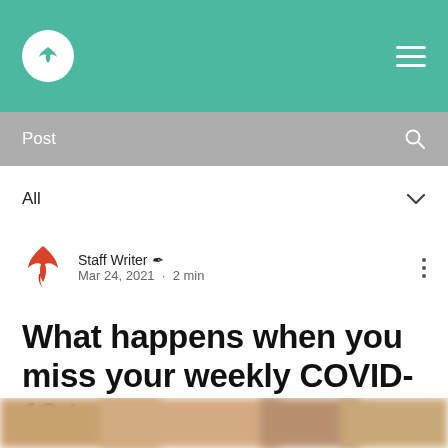Staff Writer · Mar 24, 2021 · 2 min
Post
All
Staff Writer   Mar 24, 2021 · 2 min
What happens when you miss your weekly COVID-19 test?
[Figure (photo): Blurred image strip at bottom of page]